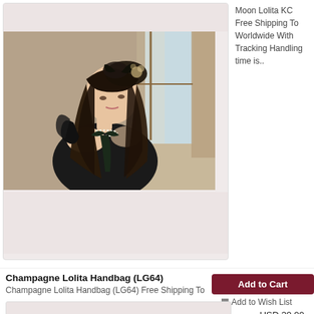[Figure (photo): Product photo: young woman with long wavy dark hair wearing a dark floral headpiece/bow, black gloves, pearl necklace, posing near a window with curtains. Lolita fashion style.]
Moon Lolita KC Free Shipping To Worldwide With Tracking Handling time is..
Champagne Lolita Handbag (LG64)
Champagne Lolita Handbag (LG64) Free Shipping To
Add to Cart
Add to Wish List
USD 39.00